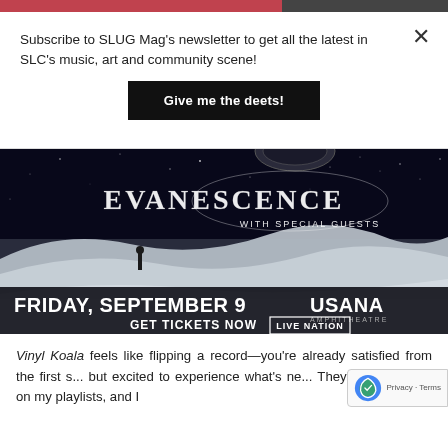Subscribe to SLUG Mag's newsletter to get all the latest in SLC's music, art and community scene!
Give me the deets!
[Figure (photo): Evanescence concert advertisement. Background shows a dramatic dark space/lunar landscape scene with a lone figure. Text reads: EVANESCENCE WITH SPECIAL GUESTS, FRIDAY, SEPTEMBER 9 USANA AMPHITHEATRE, GET TICKETS NOW LIVE NATION]
Vinyl Koala feels like flipping a record—you're already satisfied from the first s... but excited to experience what's ne... They'll definitely be on my playlists, and I